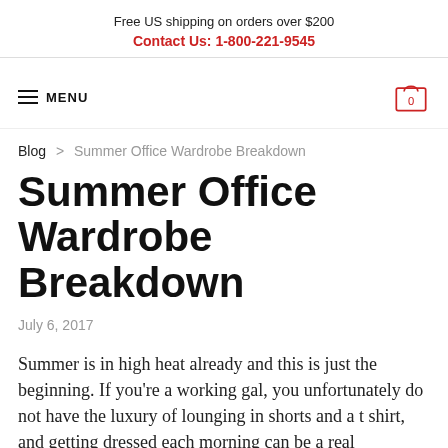Free US shipping on orders over $200
Contact Us: 1-800-221-9545
MENU
Blog > Summer Office Wardrobe Breakdown
Summer Office Wardrobe Breakdown
July 6, 2017
Summer is in high heat already and this is just the beginning. If you're a working gal, you unfortunately do not have the luxury of lounging in shorts and a t shirt, and getting dressed each morning can be a real challenge. You need to look profesh and stylish without melting